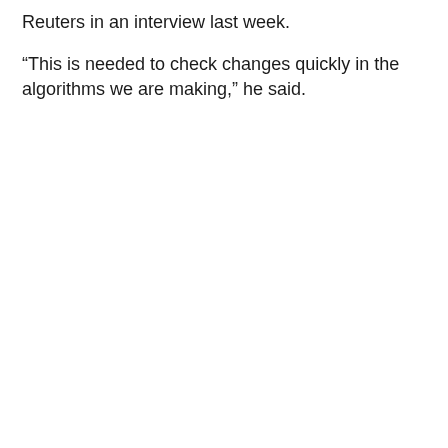Reuters in an interview last week.
“This is needed to check changes quickly in the algorithms we are making,” he said.